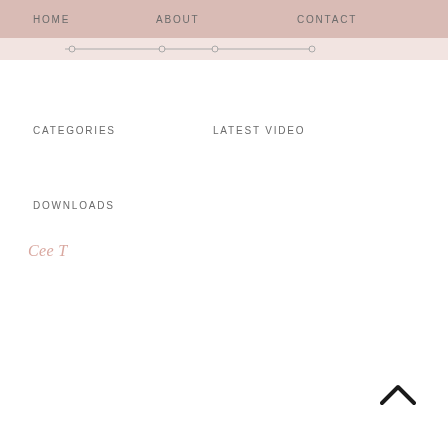HOME   ABOUT   CONTACT
CATEGORIES   LATEST VIDEO
DOWNLOADS
Cee T
[Figure (other): Upward chevron / scroll-to-top arrow icon in dark color at bottom right of page]